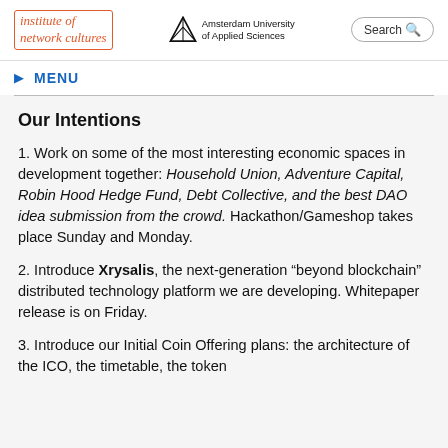institute of network cultures | Amsterdam University of Applied Sciences | Search
MENU
Our Intentions
1. Work on some of the most interesting economic spaces in development together: Household Union, Adventure Capital, Robin Hood Hedge Fund, Debt Collective, and the best DAO idea submission from the crowd. Hackathon/Gameshop takes place Sunday and Monday.
2. Introduce Xrysalis, the next-generation “beyond blockchain” distributed technology platform we are developing. Whitepaper release is on Friday.
3. Introduce our Initial Coin Offering plans: the architecture of the ICO, the timetable, the token